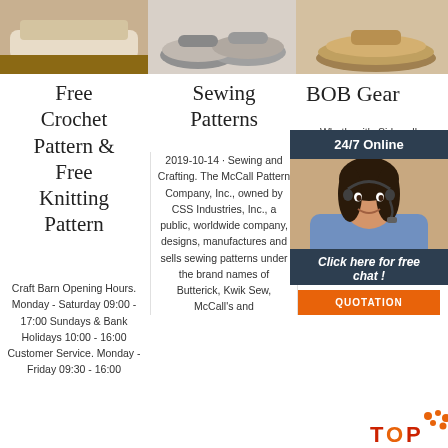[Figure (photo): Three product images at the top: slippers/bedding on left, grey slippers in center, brown shoe/slipper on right]
Free Crochet Pattern & Free Knitting Pattern
Craft Barn Opening Hours. Monday - Saturday 09:00 - 17:00 Sundays & Bank Holidays 10:00 - 16:00 Customer Service. Monday - Friday 09:30 - 16:00
Sewing Patterns
2019-10-14 · Sewing and Crafting. The McCall Pattern Company, Inc., owned by CSS Industries, Inc., a public, worldwide company, designs, manufactures and sells sewing patterns under the brand names of Butterick, Kwik Sew, McCall's and
BOB Gear
Whether it's Sidewalks, Adventure, or Family destinations as rugged as the places you take it. Jogging and Trails or just for all your adventures ordinary, with your children by your side. Safe and sturdy, all terrain BOB Gear single and double strollers
[Figure (infographic): Live chat widget with '24/7 Online' header, agent photo, 'Click here for free chat!' text, and orange QUOTATION button]
[Figure (logo): TOP logo with orange dots and orange/red text 'TOP']